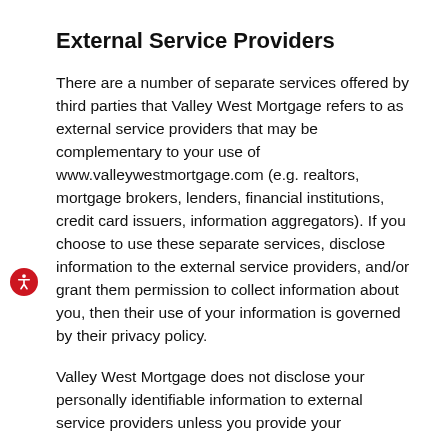External Service Providers
There are a number of separate services offered by third parties that Valley West Mortgage refers to as external service providers that may be complementary to your use of www.valleywestmortgage.com (e.g. realtors, mortgage brokers, lenders, financial institutions, credit card issuers, information aggregators). If you choose to use these separate services, disclose information to the external service providers, and/or grant them permission to collect information about you, then their use of your information is governed by their privacy policy.
Valley West Mortgage does not disclose your personally identifiable information to external service providers unless you provide your